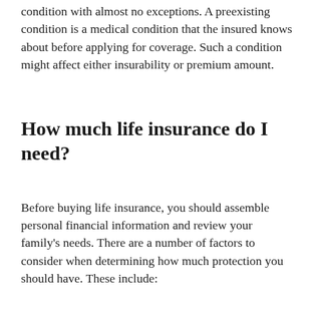condition with almost no exceptions. A preexisting condition is a medical condition that the insured knows about before applying for coverage. Such a condition might affect either insurability or premium amount.
How much life insurance do I need?
Before buying life insurance, you should assemble personal financial information and review your family's needs. There are a number of factors to consider when determining how much protection you should have. These include: